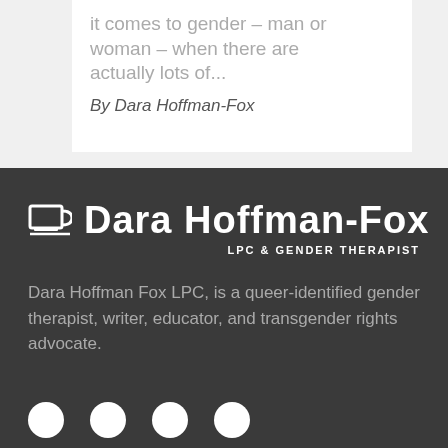it comes to gender – man or woman – when there are actually lots of...
By Dara Hoffman-Fox
[Figure (logo): Dara Hoffman-Fox LPC & Gender Therapist logo with coffee cup icon]
Dara Hoffman Fox LPC, is a queer-identified gender therapist, writer, educator, and transgender rights advocate.